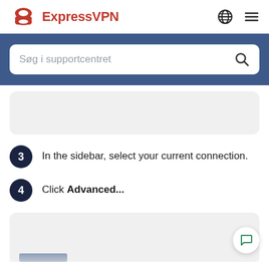[Figure (logo): ExpressVPN logo with red stylized 'e' icon and red 'ExpressVPN' text, plus globe icon and hamburger menu icon on the right]
[Figure (screenshot): Search bar with placeholder text 'Søg i supportcentret' and search icon, on a dark blue background]
[Figure (screenshot): Partial screenshot card, light grey rounded rectangle]
3  In the sidebar, select your current connection.
4  Click Advanced...
[Figure (screenshot): Partial screenshot at bottom with blue bar and chat button overlay]